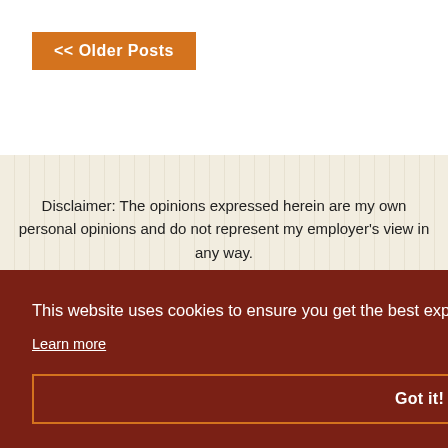<< Older Posts
Disclaimer: The opinions expressed herein are my own personal opinions and do not represent my employer's view in any way.
BLOG
PODCAST
SPEAKING
os
Tips
This website uses cookies to ensure you get the best experience on our website.
Learn more
Got it!
ASP.NET MVC 4